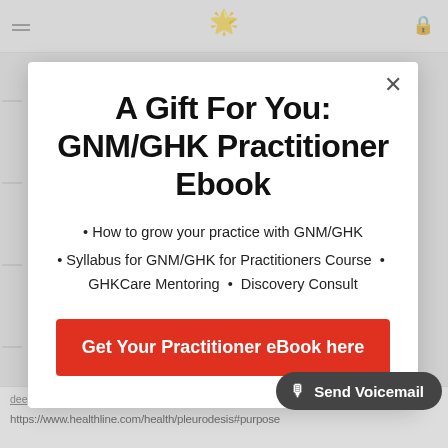[Figure (screenshot): Website header with hamburger menu icon on left, gold star/flame emoji in center, and profile icon on right]
A Gift For You: GNM/GHK Practitioner Ebook
How to grow your practice with GNM/GHK
Syllabus for GNM/GHK for Practitioners Course  •  GHKCare Mentoring  •  Discovery Consult
Get Your Practitioner eBook here
Send Voicemail
https://www.healthline.com/health/pleurodesis#purpose